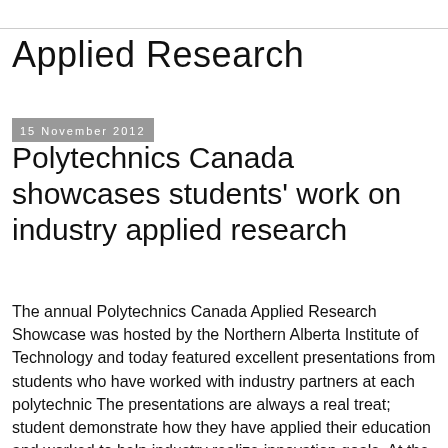Applied Research
15 November 2012
Polytechnics Canada showcases students' work on industry applied research
The annual Polytechnics Canada Applied Research Showcase was hosted by the Northern Alberta Institute of Technology and today featured excellent presentations from students who have worked with industry partners at each polytechnic The presentations are always a real treat; student demonstrate how they have applied their education and worked to help industry realize innovation goals. At the same time, they demonstrate how they have acquired innovation literacy skills. George Brown College recent grad Adam Piercey won third place for his presentation about his work on Infonaut's hand hygiene gel dispenser, as part of the